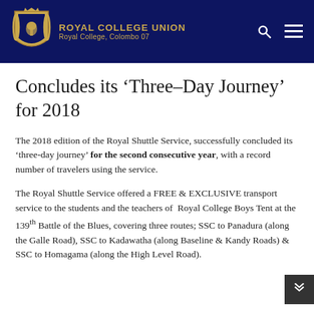ROYAL COLLEGE UNION
Royal College, Colombo 07
Concludes its ‘Three–Day Journey’ for 2018
The 2018 edition of the Royal Shuttle Service, successfully concluded its ‘three-day journey’ for the second consecutive year, with a record number of travelers using the service.
The Royal Shuttle Service offered a FREE & EXCLUSIVE transport service to the students and the teachers of Royal College Boys Tent at the 139th Battle of the Blues, covering three routes; SSC to Panadura (along the Galle Road), SSC to Kadawatha (along Baseline & Kandy Roads) & SSC to Homagama (along the High Level Road).